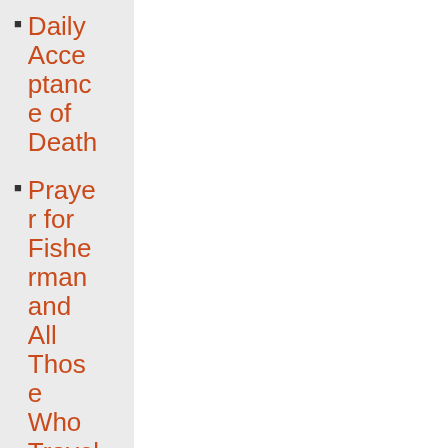Daily Acceptance of Death
Prayer for Fisherman and All Those Who Travel by